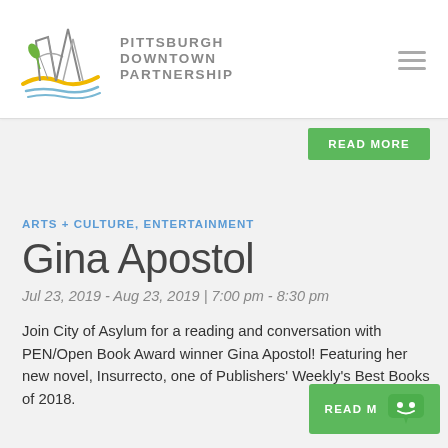[Figure (logo): Pittsburgh Downtown Partnership logo with stylized bridge and river illustration and organization name]
READ MORE
ARTS + CULTURE, ENTERTAINMENT
Gina Apostol
Jul 23, 2019 - Aug 23, 2019 | 7:00 pm - 8:30 pm
Join City of Asylum for a reading and conversation with PEN/Open Book Award winner Gina Apostol! Featuring her new novel, Insurrecto, one of Publishers' Weekly's Best Books of 2018.
READ M